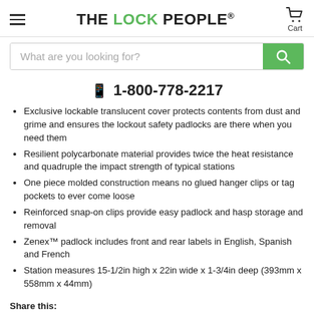THE LOCK PEOPLE. Cart
What are you looking for?
📱 1-800-778-2217
Exclusive lockable translucent cover protects contents from dust and grime and ensures the lockout safety padlocks are there when you need them
Resilient polycarbonate material provides twice the heat resistance and quadruple the impact strength of typical stations
One piece molded construction means no glued hanger clips or tag pockets to ever come loose
Reinforced snap-on clips provide easy padlock and hasp storage and removal
Zenex™ padlock includes front and rear labels in English, Spanish and French
Station measures 15-1/2in high x 22in wide x 1-3/4in deep (393mm x 558mm x 44mm)
Share this:
[Figure (infographic): Social media share buttons: Facebook, Twitter, LinkedIn, Pinterest]